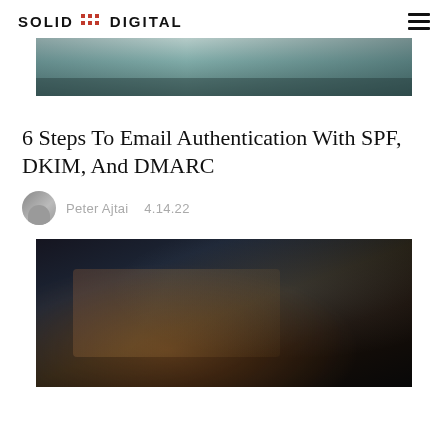SOLID DIGITAL
[Figure (photo): Partial top image of a laptop keyboard with teal/blue tones, cropped at top of page]
6 Steps To Email Authentication With SPF, DKIM, And DMARC
Peter Ajtai   4.14.22
[Figure (photo): Close-up photo of hands typing on a laptop keyboard in dark tones]